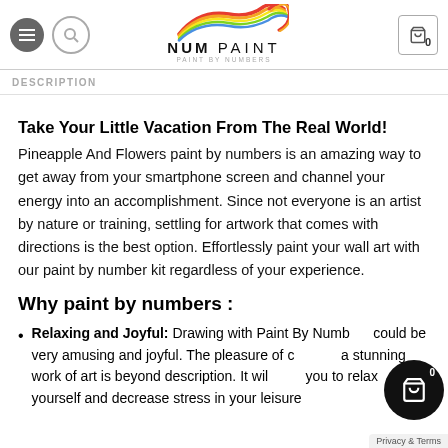NUM PAINT — DESCRIPTION
Take Your Little Vacation From The Real World!
Pineapple And Flowers paint by numbers is an amazing way to get away from your smartphone screen and channel your energy into an accomplishment. Since not everyone is an artist by nature or training, settling for artwork that comes with directions is the best option. Effortlessly paint your wall art with our paint by number kit regardless of your experience.
Why paint by numbers :
Relaxing and Joyful: Drawing with Paint By Numbers could be very amusing and joyful. The pleasure of creating a stunning work of art is beyond description. It will help you to relax yourself and decrease stress in your leisure...